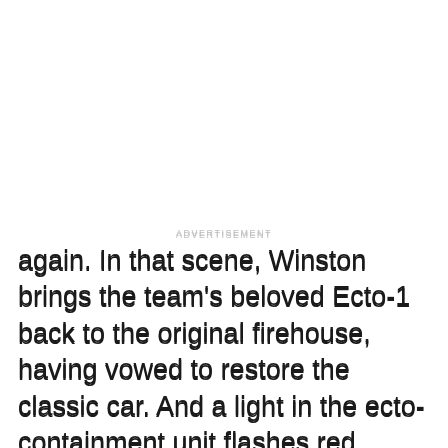ADVERTISEMENT
again. In that scene, Winston brings the team's beloved Ecto-1 back to the original firehouse, having vowed to restore the classic car. And a light in the ecto-containment unit flashes red, implying the Ghostbusters have lots more work to do.
[Figure (screenshot): YouTube video thumbnail for 'Top 10 Things You Missed in Gho...' from WatchMojo channel, showing a white marshmallow-like character on the left and a person in fiery/warm-toned background on the right, with a red YouTube play button overlay at the bottom center.]